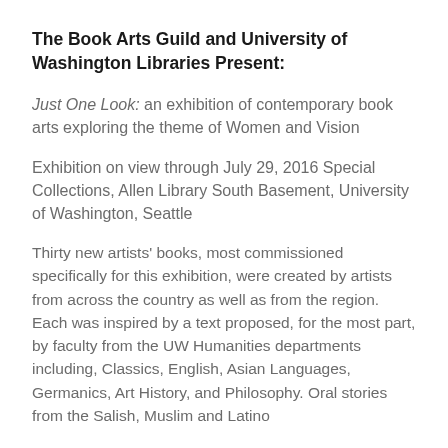The Book Arts Guild and University of Washington Libraries Present:
Just One Look: an exhibition of contemporary book arts exploring the theme of Women and Vision
Exhibition on view through July 29, 2016 Special Collections, Allen Library South Basement, University of Washington, Seattle
Thirty new artists' books, most commissioned specifically for this exhibition, were created by artists from across the country as well as from the region. Each was inspired by a text proposed, for the most part, by faculty from the UW Humanities departments including, Classics, English, Asian Languages, Germanics, Art History, and Philosophy. Oral stories from the Salish, Muslim and Latino communities also inspired the artists.